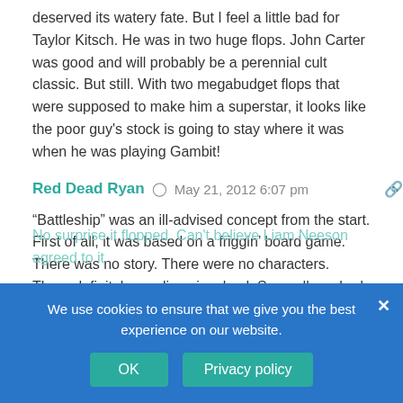deserved its watery fate. But I feel a little bad for Taylor Kitsch. He was in two huge flops. John Carter was good and will probably be a perennial cult classic. But still. With two megabudget flops that were supposed to make him a superstar, it looks like the poor guy's stock is going to stay where it was when he was playing Gambit!
Red Dead Ryan — May 21, 2012 6:07 pm
“Battleship” was an ill-advised concept from the start. First of all, it was based on a friggin’ board game. There was no story. There were no characters. There definitely no aliens involved. Secondly, nobody was clamoring for a movie based on the game.
We use cookies to ensure that we give you the best experience on our website.
OK   Privacy policy